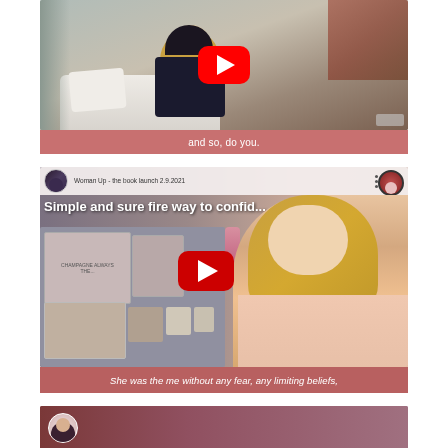[Figure (screenshot): YouTube video thumbnail showing a woman sitting in a white chair in a room with exposed brick wall, wearing a dark shirt with 'REIGNING WOMEN' text and a crown graphic, with a YouTube play button overlay. Caption bar reads 'and so, do you.']
and so, do you.
[Figure (screenshot): YouTube video embed showing 'Simple and sure fire way to confid...' from channel 'Woman Up - the book launch 2.9.2021', with a woman with long wavy hair in a pink top in front of a shelf with decor items including a sign reading 'CHAMPAGNE ALWAYS THE...', with a YouTube play button overlay. Caption bar reads 'She was the me without any fear, any limiting beliefs,']
She was the me without any fear, any limiting beliefs,
[Figure (screenshot): Partial YouTube video thumbnail at bottom showing a woman's avatar circle and channel text 'Woman Up - Do you have 'Wafflitis'?']
Woman Up - Do you have 'Wafflitis'?